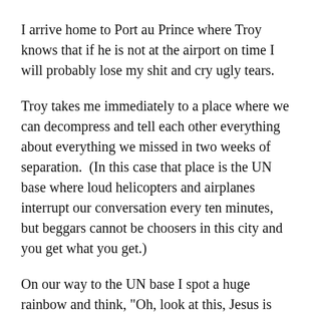I arrive home to Port au Prince where Troy knows that if he is not at the airport on time I will probably lose my shit and cry ugly tears.
Troy takes me immediately to a place where we can decompress and tell each other everything about everything we missed in two weeks of separation.  (In this case that place is the UN base where loud helicopters and airplanes interrupt our conversation every ten minutes, but beggars cannot be choosers in this city and you get what you get.)
On our way to the UN base I spot a huge rainbow and think, "Oh, look at this, Jesus is reminding me I'm probably gonna be okay."  I ask Troy to get a photo of the rainbow but immediately I know Troy's photo is going to suck, so I pop my head out of the car to get my own rainbow photo. During the perfect capture of the rainbow behind the car, totally with the back during set...